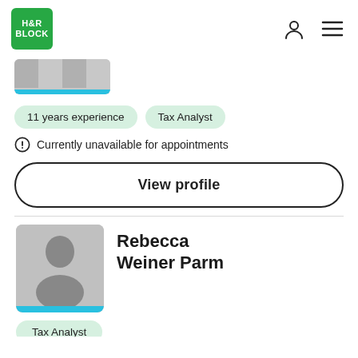[Figure (logo): H&R Block green logo with white text]
[Figure (photo): Blurred/redacted profile photo card with blue bottom bar]
11 years experience
Tax Analyst
Currently unavailable for appointments
View profile
Rebecca Weiner Parm
[Figure (photo): Generic placeholder avatar with blue bottom bar]
Tax Analyst